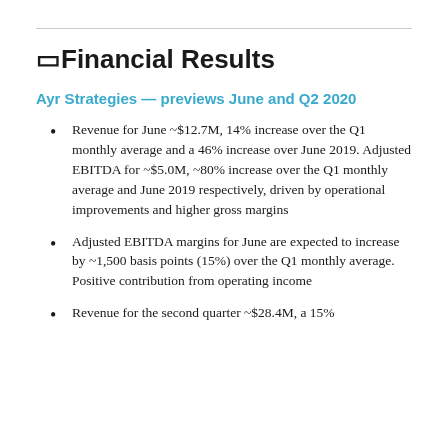🔲Financial Results
Ayr Strategies — previews June and Q2 2020
Revenue for June ~$12.7M, 14% increase over the Q1 monthly average and a 46% increase over June 2019. Adjusted EBITDA for ~$5.0M, ~80% increase over the Q1 monthly average and June 2019 respectively, driven by operational improvements and higher gross margins
Adjusted EBITDA margins for June are expected to increase by ~1,500 basis points (15%) over the Q1 monthly average. Positive contribution from operating income
Revenue for the second quarter ~$28.4M, a 15%